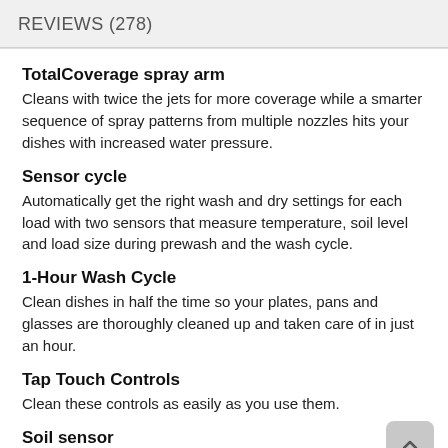REVIEWS (278)
TotalCoverage spray arm
Cleans with twice the jets for more coverage while a smarter sequence of spray patterns from multiple nozzles hits your dishes with increased water pressure.
Sensor cycle
Automatically get the right wash and dry settings for each load with two sensors that measure temperature, soil level and load size during prewash and the wash cycle.
1-Hour Wash Cycle
Clean dishes in half the time so your plates, pans and glasses are thoroughly cleaned up and taken care of in just an hour.
Tap Touch Controls
Clean these controls as easily as you use them.
Soil sensor
Determines how dirty dishes are and adjusts the Normal